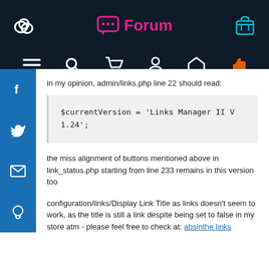Forum
in my opinion, admin/links.php line 22 should read:
the miss alignment of buttons mentioned above in link_status.php starting from line 233 remains in this version too
configuration/links/Display Link Title as links doesn't seem to work, as the title is still a link despite being set to false in my store atm - please feel free to check at: absinthe links